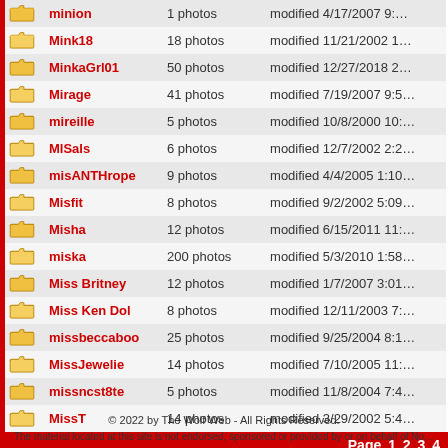|  | Name | Photos | Modified |
| --- | --- | --- | --- |
| [folder] | minion | 1 photos | modified 4/17/2007 9:… |
| [folder] | Mink18 | 18 photos | modified 11/21/2002 1… |
| [folder] | MinkaGrl01 | 50 photos | modified 12/27/2018 2… |
| [folder] | Mirage | 41 photos | modified 7/19/2007 9:5… |
| [folder] | mireille | 5 photos | modified 10/8/2000 10:… |
| [folder] | MlSals | 6 photos | modified 12/7/2002 2:2… |
| [folder] | misANTHrope | 9 photos | modified 4/4/2005 1:10… |
| [folder] | Misfit | 8 photos | modified 9/2/2002 5:09… |
| [folder] | Misha | 12 photos | modified 6/15/2011 11:… |
| [folder] | miska | 200 photos | modified 5/3/2010 1:58… |
| [folder] | Miss Britney | 12 photos | modified 1/7/2007 3:01… |
| [folder] | Miss Ken Dol | 8 photos | modified 12/11/2003 7:… |
| [folder] | missbeccaboo | 25 photos | modified 9/25/2004 8:1… |
| [folder] | MissJewelie | 14 photos | modified 7/10/2005 11:… |
| [folder] | missncst8te | 5 photos | modified 11/8/2004 7:4… |
| [folder] | MissT | 14 photos | modified 3/29/2002 5:4… |
Page 1 2 3 4
© 2022 by The Wolf Web - All Rights Reserved.
The material located at this site is not endorsed, sponsored or provided by or on behalf of No…